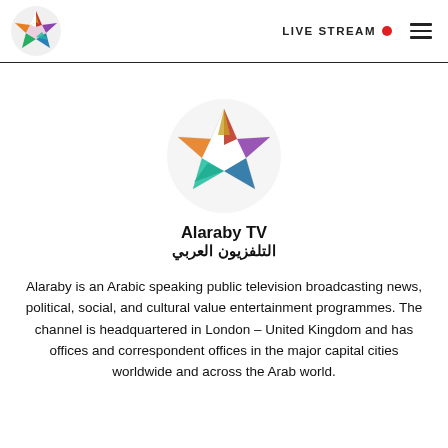LIVE STREAM
[Figure (logo): Alaraby TV colorful star-shaped logo in page header]
[Figure (logo): Alaraby TV colorful star-shaped logo, large centered version]
Alaraby TV
التلفزيون العربي
Alaraby is an Arabic speaking public television broadcasting news, political, social, and cultural value entertainment programmes. The channel is headquartered in London – United Kingdom and has offices and correspondent offices in the major capital cities worldwide and across the Arab world.